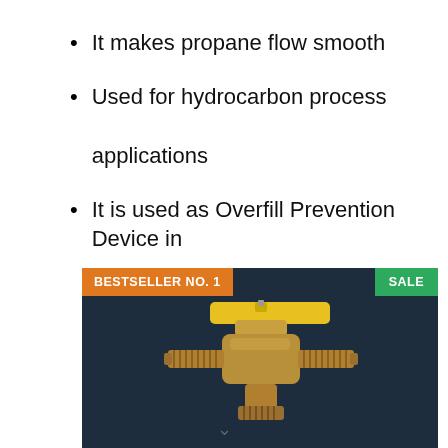It makes propane flow smooth
Used for hydrocarbon process applications
It is used as Overfill Prevention Device in tanks.
[Figure (photo): A brass ball valve with yellow lever handle, displayed on dark navy background. Tagged as BESTSELLER NO. 1 and SALE.]